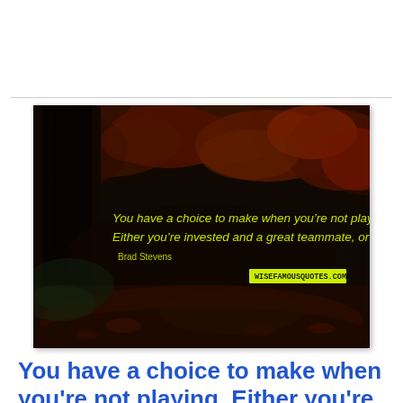[Figure (photo): Autumn forest path with large tree trunk on left and red/orange foliage. Yellow text overlay reads: 'You have a choice to make when you're not playing Either you're invested and a great teammate, or your not' attributed to Brad Stevens. Bottom center shows wisefamousquotes.com watermark.]
You have a choice to make when you're not playing. Either you're